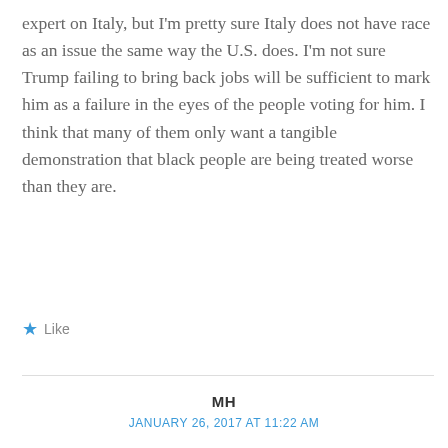expert on Italy, but I'm pretty sure Italy does not have race as an issue the same way the U.S. does. I'm not sure Trump failing to bring back jobs will be sufficient to mark him as a failure in the eyes of the people voting for him. I think that many of them only want a tangible demonstration that black people are being treated worse than they are.
★ Like
MH
JANUARY 26, 2017 AT 11:22 AM